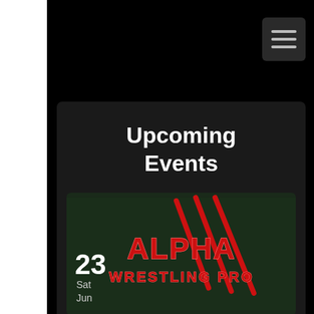[Figure (screenshot): Hamburger menu button (three horizontal lines) in dark gray rounded square, top right]
Upcoming Events
[Figure (logo): Alpha Wrestling Pro logo — red claw marks on dark green background with stylized red metallic text 'ALPHA WRESTLING PRO']
23 Sat Jun
Alpha Wrestling Pro ...